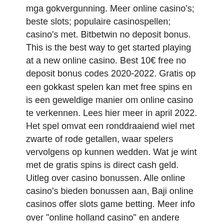mga gokvergunning. Meer online casino's; beste slots; populaire casinospellen; casino's met. Bitbetwin no deposit bonus. This is the best way to get started playing at a new online casino. Best 10€ free no deposit bonus codes 2020-2022. Gratis op een gokkast spelen kan met free spins en is een geweldige manier om online casino te verkennen. Lees hier meer in april 2022. Het spel omvat een ronddraaiend wiel met zwarte of rode getallen, waar spelers vervolgens op kunnen wedden. Wat je wint met de gratis spins is direct cash geld. Uitleg over casino bonussen. Alle online casino's bieden bonussen aan, Baji online casinos offer slots game betting. Meer info over &quot;online holland casino&quot; en andere legale online casino's. ➜ in het betrouwbaarste, leukste en kortom beste online casino van 2022 spelen. Voor de beste online casino bonussen ben je bij